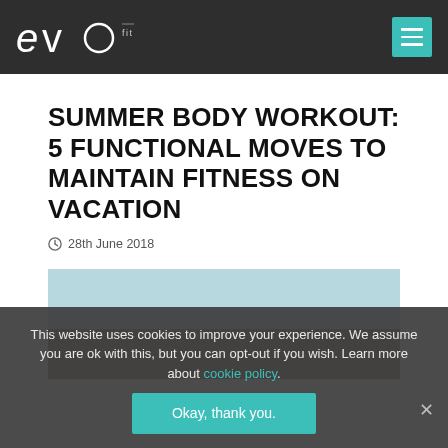evo fitness evolved
SUMMER BODY WORKOUT: 5 FUNCTIONAL MOVES TO MAINTAIN FITNESS ON VACATION
28th June 2018
[Figure (photo): Outdoor photo, likely a person exercising or relaxing, with sky and sandy/beach background visible]
This website uses cookies to improve your experience. We assume you are ok with this, but you can opt-out if you wish. Learn more about cookie policy. Okay, thank you.